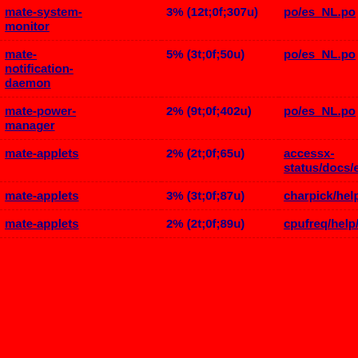| mate-system-monitor | 3% (12t;0f;307u) | po/es_NL.po |
| mate-notification-daemon | 5% (3t;0f;50u) | po/es_NL.po |
| mate-power-manager | 2% (9t;0f;402u) | po/es_NL.po |
| mate-applets | 2% (2t;0f;65u) | accessx-status/docs/es_Nl/es_ |
| mate-applets | 3% (3t;0f;87u) | charpick/help/es_Nl/e |
| mate-applets | 2% (2t;0f;89u) | cpufreq/help/es_Nl/es |